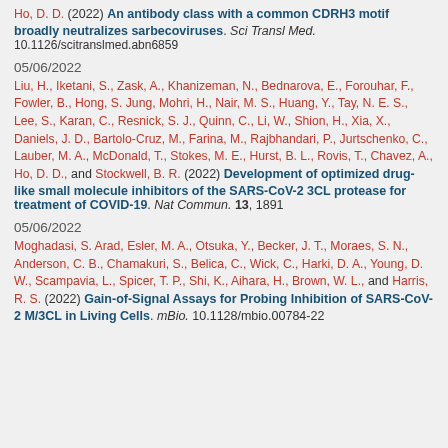Ho, D. D. (2022) An antibody class with a common CDRH3 motif broadly neutralizes sarbecoviruses. Sci Transl Med. 10.1126/scitranslmed.abn6859
05/06/2022
Liu, H., Iketani, S., Zask, A., Khanizeman, N., Bednarova, E., Forouhar, F., Fowler, B., Hong, S. Jung, Mohri, H., Nair, M. S., Huang, Y., Tay, N. E. S., Lee, S., Karan, C., Resnick, S. J., Quinn, C., Li, W., Shion, H., Xia, X., Daniels, J. D., Bartolo-Cruz, M., Farina, M., Rajbhandari, P., Jurtschenko, C., Lauber, M. A., McDonald, T., Stokes, M. E., Hurst, B. L., Rovis, T., Chavez, A., Ho, D. D., and Stockwell, B. R. (2022) Development of optimized drug-like small molecule inhibitors of the SARS-CoV-2 3CL protease for treatment of COVID-19. Nat Commun. 13, 1891
05/06/2022
Moghadasi, S. Arad, Esler, M. A., Otsuka, Y., Becker, J. T., Moraes, S. N., Anderson, C. B., Chamakuri, S., Belica, C., Wick, C., Harki, D. A., Young, D. W., Scampavia, L., Spicer, T. P., Shi, K., Aihara, H., Brown, W. L., and Harris, R. S. (2022) Gain-of-Signal Assays for Probing Inhibition of SARS-CoV-2 M/3CL in Living Cells. mBio. 10.1128/mbio.00784-22